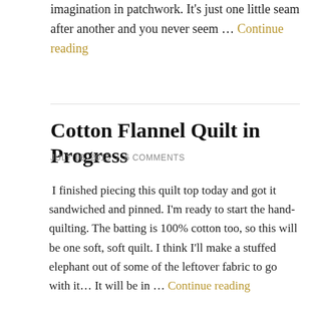imagination in patchwork. It's just one little seam after another and you never seem … Continue reading
Cotton Flannel Quilt in Progress
JULY 16, 2015 / 6 COMMENTS
I finished piecing this quilt top today and got it sandwiched and pinned. I'm ready to start the hand-quilting. The batting is 100% cotton too, so this will be one soft, soft quilt. I think I'll make a stuffed elephant out of some of the leftover fabric to go with it... It will be in … Continue reading